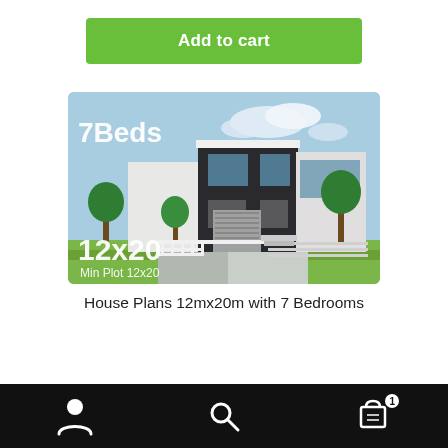Add to cart
[Figure (photo): Exterior rendering of a modern two-story house with dark facade, large windows, white fence, and trees. Text overlay reads '7Beds' and '12x20 Min Plot 12x20'.]
House Plans 12mx20m with 7 Bedrooms
[Figure (infographic): Bottom navigation bar with person icon, search icon, and shopping cart icon with badge showing '1'.]